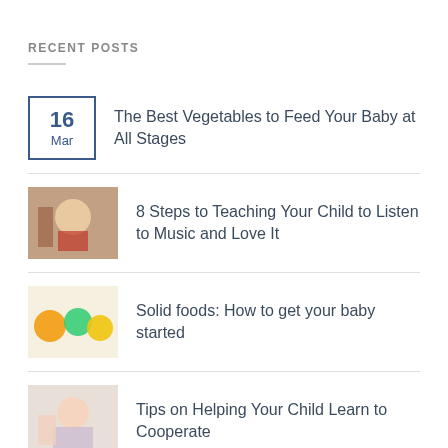RECENT POSTS
The Best Vegetables to Feed Your Baby at All Stages
8 Steps to Teaching Your Child to Listen to Music and Love It
Solid foods: How to get your baby started
Tips on Helping Your Child Learn to Cooperate
Pacifiers: Are they good for your baby?